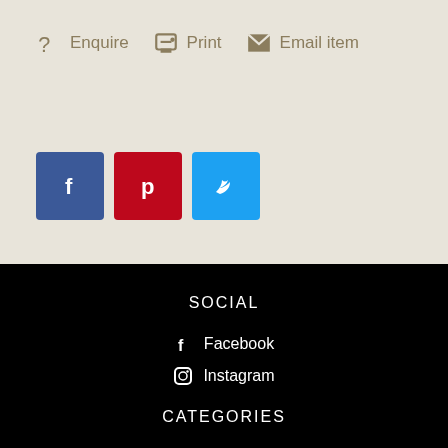Enquire  Print  Email item
[Figure (infographic): Three social share buttons: Facebook (blue), Pinterest (red), Twitter (light blue)]
SOCIAL
Facebook
Instagram
CATEGORIES